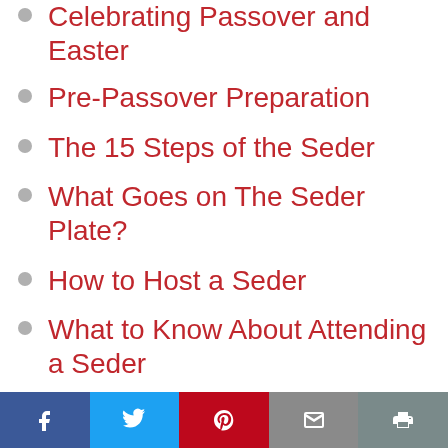Celebrating Passover and Easter
Pre-Passover Preparation
The 15 Steps of the Seder
What Goes on The Seder Plate?
How to Host a Seder
What to Know About Attending a Seder
Haggadah: The Passover Guide
Social share bar: Facebook, Twitter, Pinterest, Email, Print